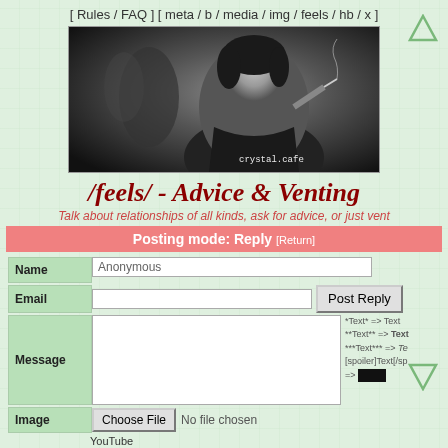[ Rules / FAQ ] [ meta / b / media / img / feels / hb / x ]
[Figure (photo): Black and white banner photo of a woman with dark hair smoking a cigarette, with crystal.cafe watermark in the corner]
/feels/ - Advice & Venting
Talk about relationships of all kinds, ask for advice, or just vent
Posting mode: Reply [Return]
Name: Anonymous
Email: [input] Post Reply
Message: [textarea] *Text* => Text **Text** => Text ***Text*** => Te [spoiler]Text[/sp => [spoiler block]
Image: Choose File No file chosen
YouTube
Direct [input]